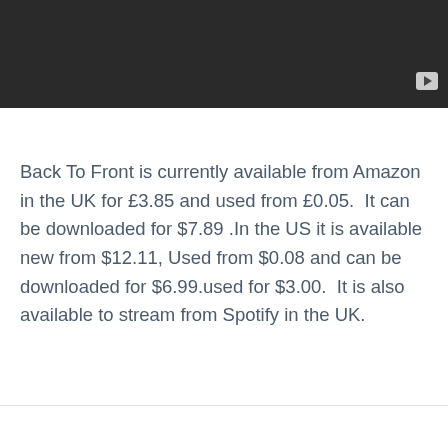[Figure (screenshot): Dark/black video thumbnail with a play button icon in the bottom-right corner]
Back To Front is currently available from Amazon in the UK for £3.85 and used from £0.05.  It can be downloaded for $7.89 .In the US it is available new from $12.11, Used from $0.08 and can be downloaded for $6.99.used for $3.00.  It is also available to stream from Spotify in the UK.